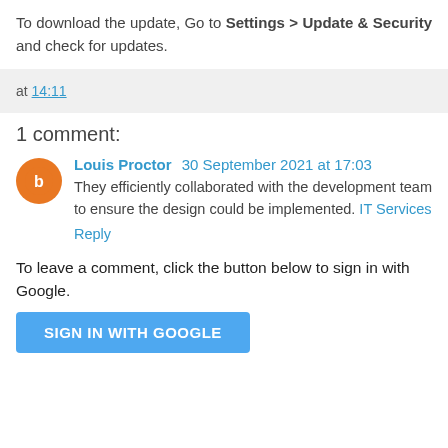To download the update, Go to Settings > Update & Security and check for updates.
at 14:11
1 comment:
Louis Proctor 30 September 2021 at 17:03
They efficiently collaborated with the development team to ensure the design could be implemented. IT Services
Reply
To leave a comment, click the button below to sign in with Google.
SIGN IN WITH GOOGLE